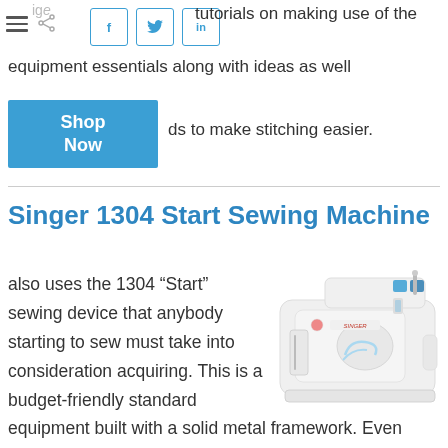tutorials on making use of the equipment essentials along with ideas as well as to make stitching easier.
Singer 1304 Start Sewing Machine
[Figure (photo): Singer 1304 Start sewing machine, white colored, compact design with blue accent details]
also uses the 1304 “Start” sewing device that anybody starting to sew must take into consideration acquiring. This is a budget-friendly standard equipment built with a solid metal framework. Even though it just has 6 integrated stitches,